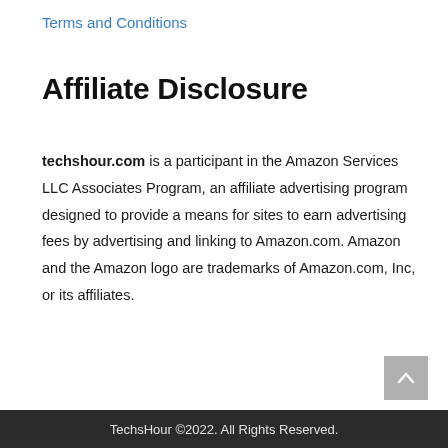Terms and Conditions
Affiliate Disclosure
techshour.com is a participant in the Amazon Services LLC Associates Program, an affiliate advertising program designed to provide a means for sites to earn advertising fees by advertising and linking to Amazon.com. Amazon and the Amazon logo are trademarks of Amazon.com, Inc, or its affiliates.
TechsHour ©2022. All Rights Reserved.